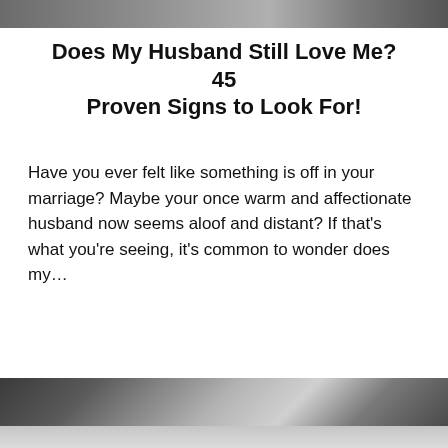[Figure (photo): Top portion of a photo showing feet/shoes at ground level, partially cropped]
Does My Husband Still Love Me? 45 Proven Signs to Look For!
Have you ever felt like something is off in your marriage? Maybe your once warm and affectionate husband now seems aloof and distant? If that's what you're seeing, it's common to wonder does my…
CONTINUE READING
[Figure (photo): Black and white photo of a couple kissing or in close embrace, partially cropped at bottom of page]